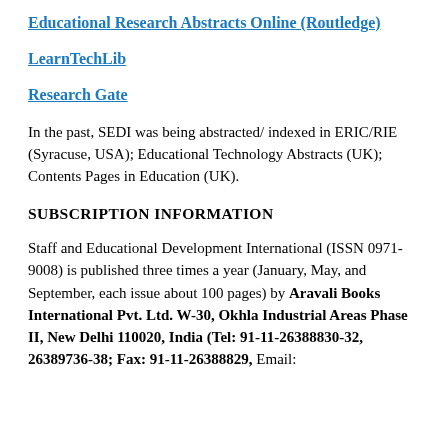Educational Research Abstracts Online (Routledge)
LearnTechLib
Research Gate
In the past, SEDI was being abstracted/ indexed in ERIC/RIE (Syracuse, USA); Educational Technology Abstracts (UK); Contents Pages in Education (UK).
SUBSCRIPTION INFORMATION
Staff and Educational Development International (ISSN 0971-9008) is published three times a year (January, May, and September, each issue about 100 pages) by Aravali Books International Pvt. Ltd. W-30, Okhla Industrial Areas Phase II, New Delhi 110020, India (Tel: 91-11-26388830-32, 26389736-38; Fax: 91-11-26388829, Email: